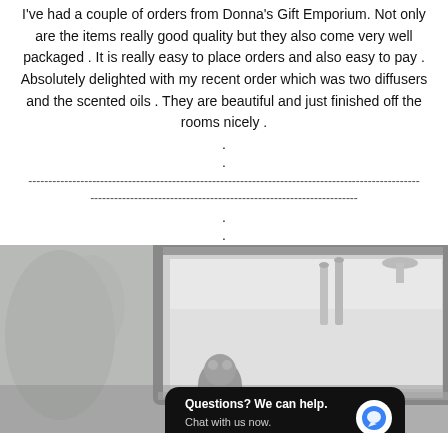I've had a couple of orders from Donna's Gift Emporium. Not only are the items really good quality but they also come very well packaged . It is really easy to place orders and also easy to pay . Absolutely delighted with my recent order which was two diffusers and the scented oils . They are beautiful and just finished off the rooms nicely .
. . -------------------------------------------------------------------------------------------------- ------------------------------------------------------------------- . .
[Figure (photo): Monochrome photo of a decorative interior scene featuring a mirror with ornate silver frame, diffuser bottles visible in the reflection, floral wallpaper, and a frog figurine in the foreground. A chat widget overlay reads 'Questions? We can help. Chat with us now.' with a blue chat icon.]